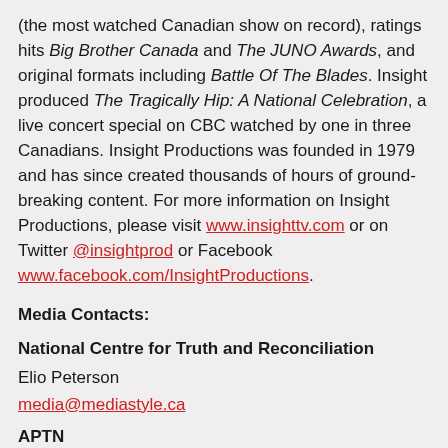(the most watched Canadian show on record), ratings hits Big Brother Canada and The JUNO Awards, and original formats including Battle Of The Blades. Insight produced The Tragically Hip: A National Celebration, a live concert special on CBC watched by one in three Canadians. Insight Productions was founded in 1979 and has since created thousands of hours of ground-breaking content. For more information on Insight Productions, please visit www.insighttv.com or on Twitter @insightprod or Facebook www.facebook.com/InsightProductions.
Media Contacts:
National Centre for Truth and Reconciliation
Elio Peterson
media@mediastyle.ca
APTN
Jacqueline Jubinville
Director of Communications